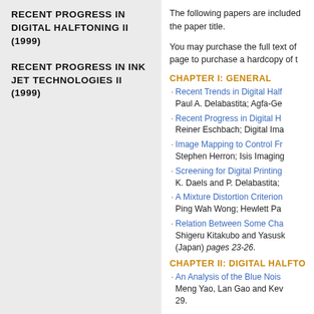RECENT PROGRESS IN DIGITAL HALFTONING II (1999)
RECENT PROGRESS IN INK JET TECHNOLOGIES II (1999)
The following papers are included the paper title.
You may purchase the full text of page to purchase a hardcopy of t
CHAPTER I: GENERAL
Recent Trends in Digital Half — Paul A. Delabastita; Agfa-Ge
Recent Progress in Digital H — Reiner Eschbach; Digital Ima
Image Mapping to Control Fr — Stephen Herron; Isis Imaging
Screening for Digital Printing — K. Daels and P. Delabastita;
A Mixture Distortion Criterion — Ping Wah Wong; Hewlett Pa
Relation Between Some Cha — Shigeru Kitakubo and Yasusk (Japan) pages 23-26.
CHAPTER II: DIGITAL HALFTO
An Analysis of the Blue Nois — Meng Yao, Lan Gao and Kev 29.